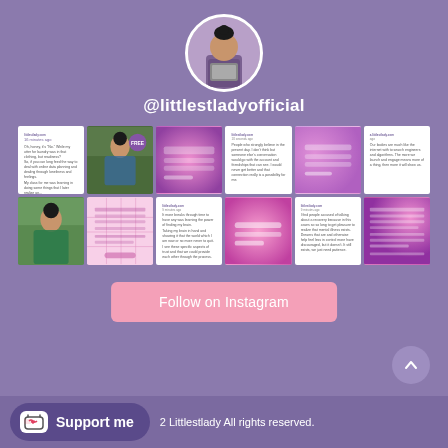[Figure (photo): Circular profile photo of a woman with vintage hairstyle holding a laptop, on purple background]
@littlestladyofficial
[Figure (screenshot): Instagram grid showing 12 posts in 2 rows of 6: text posts on white backgrounds, photos of a woman in floral dresses, pink and purple graphic posts]
Follow on Instagram
Support me  2 Littlestlady All rights reserved.